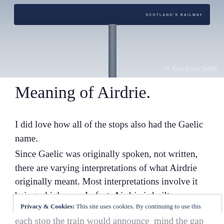[Figure (photo): Photograph of a blue Scottish train station sign on a metal pole against a grey sky, with watermark '© Amy Lyon Smith' in the lower right corner.]
Meaning of Airdrie.
I did love how all of the stops also had the Gaelic name.
Since Gaelic was originally spoken, not written, there are varying interpretations of what Airdrie originally meant. Most interpretations involve it being a high area. In fact, Airdrie is built across seven hills : Airdriehill, Cairnhill,
Privacy & Cookies: This site uses cookies. By continuing to use this website, you agree to their use.
To find out more, including how to control cookies, see here: Cookie Policy
Close and accept
each stop the train would announce  mind the gap when